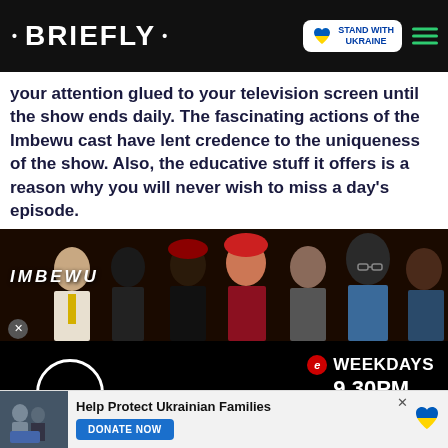• BRIEFLY •
your attention glued to your television screen until the show ends daily. The fascinating actions of the Imbewu cast have lent credence to the uniqueness of the show. Also, the educative stuff it offers is a reason why you will never wish to miss a day's episode.
[Figure (photo): Imbewu TV show promotional image showing cast members with text 'IMBEWU', and 'WEEKDAYS 9.30PM #Imbewu' with eTV logo. Bottom section shows a black background with a white circle and 'bewuTheSeed' text with a red download button.]
Help Protect Ukrainian Families
DONATE NOW